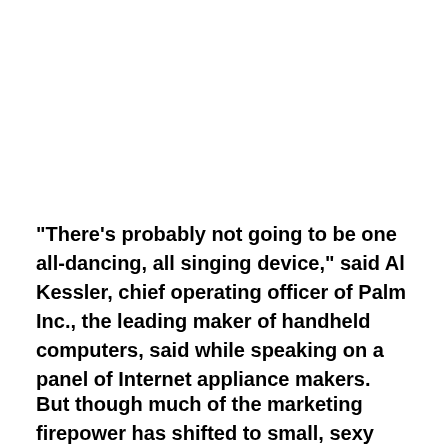"There's probably not going to be one all-dancing, all singing device," said Al Kessler, chief operating officer of Palm Inc., the leading maker of handheld computers, said while speaking on a panel of Internet appliance makers.
But though much of the marketing firepower has shifted to small, sexy handhelds suited for quick